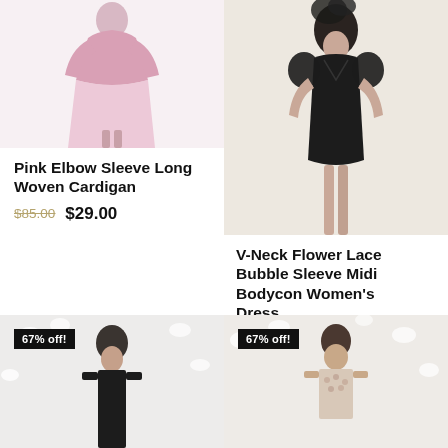[Figure (photo): Pink cardigan dress product photo, person wearing a long pink/rose woven cardigan, cropped at waist/legs]
Pink Elbow Sleeve Long Woven Cardigan
$85.00  $29.00
[Figure (photo): Black V-neck bodycon midi dress with flower lace bubble sleeves, worn by a model, product photo]
V-Neck Flower Lace Bubble Sleeve Midi Bodycon Women's Dress
$120.00  $40.00
[Figure (photo): 67% off badge on product photo, woman in black outfit against floral white background]
[Figure (photo): 67% off badge on product photo, woman in floral dress against floral white background]